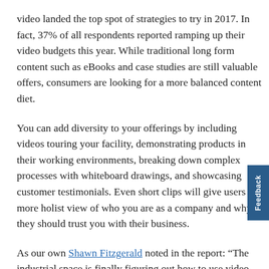video landed the top spot of strategies to try in 2017. In fact, 37% of all respondents reported ramping up their video budgets this year. While traditional long form content such as eBooks and case studies are still valuable offers, consumers are looking for a more balanced content diet.
You can add diversity to your offerings by including videos touring your facility, demonstrating products in their working environments, breaking down complex processes with whiteboard drawings, and showcasing customer testimonials. Even short clips will give users a more holistic view of who you are as a company and why they should trust you with their business.
As our own Shawn Fitzgerald noted in the report: “The industrial space is finally figuring out how to use video for more than product promotion, maintenance, and repair — they’re getting more sophisticated in content and look. And it...